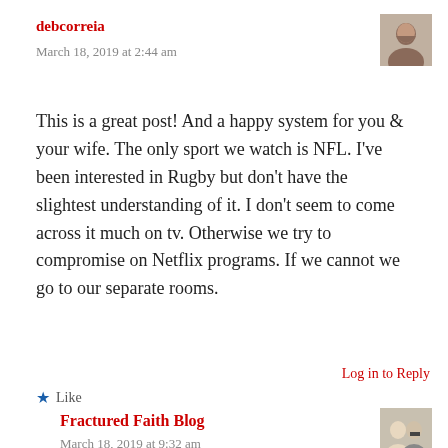debcorreia
March 18, 2019 at 2:44 am
[Figure (photo): Avatar photo of debcorreia, a woman with dark hair]
This is a great post! And a happy system for you & your wife. The only sport we watch is NFL. I've been interested in Rugby but don't have the slightest understanding of it. I don't seem to come across it much on tv. Otherwise we try to compromise on Netflix programs. If we cannot we go to our separate rooms.
Like
Log in to Reply
Fractured Faith Blog
March 18, 2019 at 9:32 am
[Figure (photo): Avatar photo showing two people, a couple]